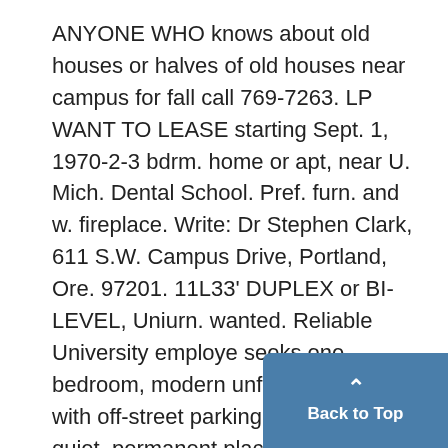ANYONE WHO knows about old houses or halves of old houses near campus for fall call 769-7263. LP WANT TO LEASE starting Sept. 1, 1970-2-3 bdrm. home or apt, near U. Mich. Dental School. Pref. furn. and w. fireplace. Write: Dr Stephen Clark, 611 S.W. Campus Drive, Portland, Ore. 97201. 11L33' DUPLEX or BI-LEVEL, Uniurn. wanted. Reliable University employe seeks one bedroom, modern unfurnished apt., with off-street parking. Looking for a quiet, permanent place to live.